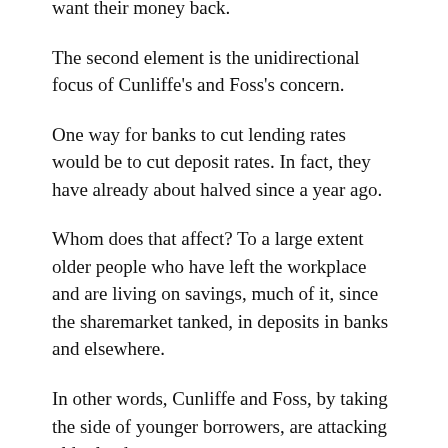…and wipe out their capital if those who lend it want their money back.
The second element is the unidirectional focus of Cunliffe's and Foss's concern.
One way for banks to cut lending rates would be to cut deposit rates. In fact, they have already about halved since a year ago.
Whom does that affect? To a large extent older people who have left the workplace and are living on savings, much of it, since the sharemarket tanked, in deposits in banks and elsewhere.
In other words, Cunliffe and Foss, by taking the side of younger borrowers, are attacking older lenders.
Moreover, and more important, they are doing this attention because of the big central challenge…